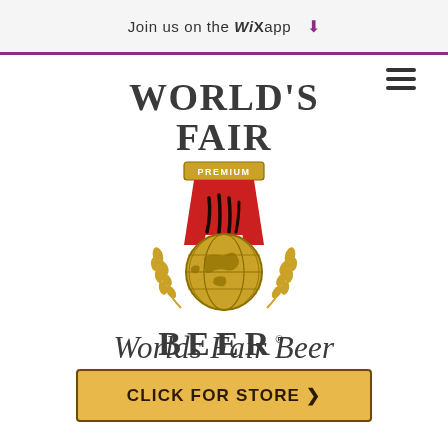Join us on the WiX app ⬇
[Figure (logo): World's Fair Premium Beer logo: medal with red ribbon, golden globe, wheat stalks on either side, text WORLD'S FAIR BEER]
Worlds Fair Beer
CLICK FOR STORE >